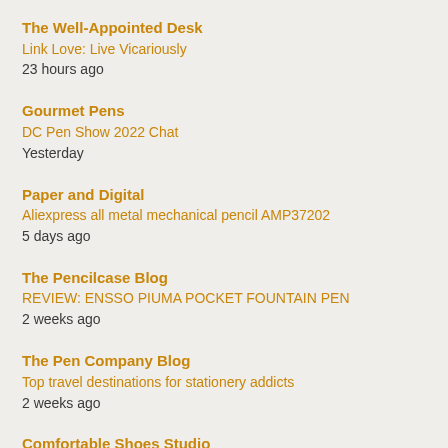The Well-Appointed Desk | Link Love: Live Vicariously | 23 hours ago
Gourmet Pens | DC Pen Show 2022 Chat | Yesterday
Paper and Digital | Aliexpress all metal mechanical pencil AMP37202 | 5 days ago
The Pencilcase Blog | REVIEW: ENSSO PIUMA POCKET FOUNTAIN PEN | 2 weeks ago
The Pen Company Blog | Top travel destinations for stationery addicts | 2 weeks ago
Comfortable Shoes Studio | Make Your Own Gel Plates | 4 weeks ago